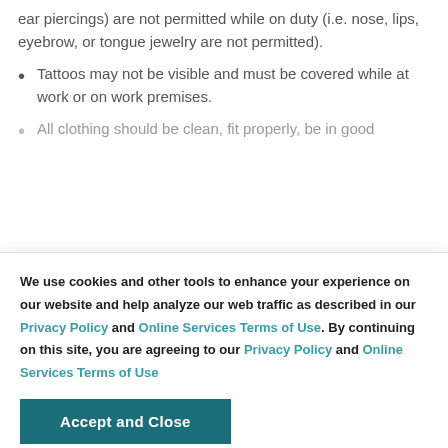ear piercings) are not permitted while on duty (i.e. nose, lips, eyebrow, or tongue jewelry are not permitted).
Tattoos may not be visible and must be covered while at work or on work premises.
All clothing should be clean, fit properly, be in good
We use cookies and other tools to enhance your experience on our website and help analyze our web traffic as described in our Privacy Policy and Online Services Terms of Use. By continuing on this site, you are agreeing to our Privacy Policy and Online Services Terms of Use
Accept and Close